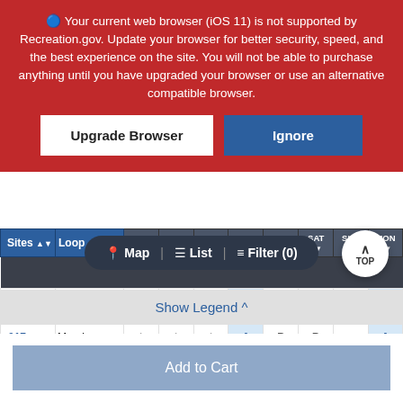🔵 Your current web browser (iOS 11) is not supported by Recreation.gov. Update your browser for better security, speed, and the best experience on the site. You will not be able to purchase anything until you have upgraded your browser or use an alternative compatible browser.
Upgrade Browser | Ignore
| Sites | Loop | MON 29 | TUE 30 | WED 31 | THU 1 | FRI 2 | SAT 3 | SUN 4 | MON 5 |
| --- | --- | --- | --- | --- | --- | --- | --- | --- | --- |
| 016 | Mead | X | X | X | A | R | R | R | A |
| 017 | Mead | ^ | ^ | ^ | A | R | R |  | A |
📍 Map | ≡ List | ≡ Filter (0)
Show Legend ^
No Campsites Selected
Add to Cart